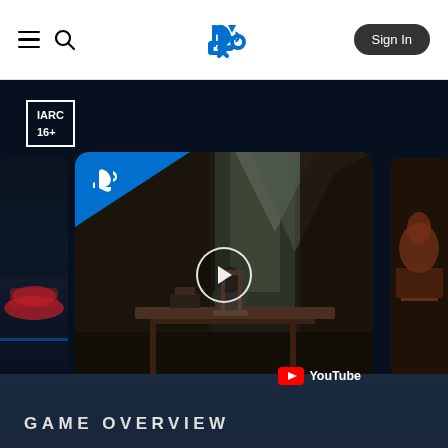PlayStation navigation bar with hamburger menu, search icon, PlayStation logo, and Sign In button
[Figure (screenshot): IARC 16+ age rating badge — white border box with text IARC and 16+ on dark background]
[Figure (screenshot): PlayStation Store video carousel showing a main video thumbnail of a game character sitting at a desk in a dark room with mountain view, with PlayStation logo stripe, play button overlay, and YouTube badge. Side thumbnails partially visible on left and right.]
GAME OVERVIEW